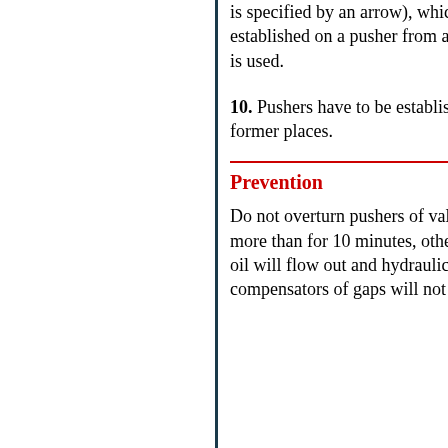is specified by an arrow), which is established on a pusher from above is used.
10. Pushers have to be established on former places.
Prevention
Do not overturn pushers of valves more than for 10 minutes, otherwise oil will flow out and hydraulic compensators of gaps will not work